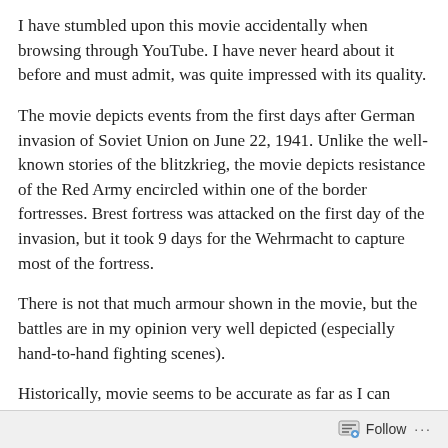I have stumbled upon this movie accidentally when browsing through YouTube. I have never heard about it before and must admit, was quite impressed with its quality.
The movie depicts events from the first days after German invasion of Soviet Union on June 22, 1941. Unlike the well-known stories of the blitzkrieg, the movie depicts resistance of the Red Army encircled within one of the border fortresses. Brest fortress was attacked on the first day of the invasion, but it took 9 days for the Wehrmacht to capture most of the fortress.
There is not that much armour shown in the movie, but the battles are in my opinion very well depicted (especially hand-to-hand fighting scenes).
Historically, movie seems to be accurate as far as I can judge from the very little information available, though this being Russian movie, you will not learn about the years before the battle – German forces captured the fortress in September 1939 at the end of its attack on Poland (which was undertaken
Follow ···